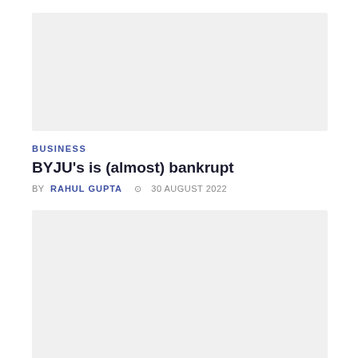[Figure (photo): Top article image placeholder, light gray background]
BUSINESS
BYJU's is (almost) bankrupt
BY RAHUL GUPTA  ⊙ 30 AUGUST 2022
[Figure (photo): Second article image placeholder, light gray background]
SPORTS
The Kohli Effect: For the First time in India, no one is interested in an India-Pakistan clash